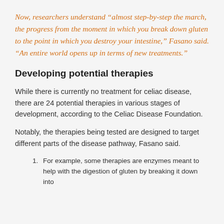Now, researchers understand “almost step-by-step the march, the progress from the moment in which you break down gluten to the point in which you destroy your intestine,” Fasano said. “An entire world opens up in terms of new treatments.”
Developing potential therapies
While there is currently no treatment for celiac disease, there are 24 potential therapies in various stages of development, according to the Celiac Disease Foundation.
Notably, the therapies being tested are designed to target different parts of the disease pathway, Fasano said.
For example, some therapies are enzymes meant to help with the digestion of gluten by breaking it down into